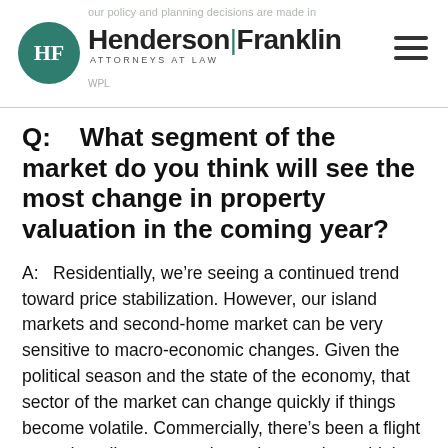Henderson Franklin Attorneys at Law
Q:    What segment of the market do you think will see the most change in property valuation in the coming year?
A:    Residentially, we’re seeing a continued trend toward price stabilization. However, our island markets and second-home market can be very sensitive to macro-economic changes. Given the political season and the state of the economy, that sector of the market can change quickly if things become volatile. Commercially, there’s been a flight toward credit tenant net leased properties – think Starbucks, WaWa, Mattress Firm. Leased medical properties are also a hugely popular asset class at